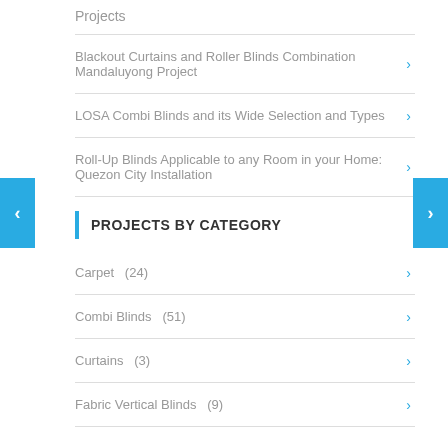Projects
Blackout Curtains and Roller Blinds Combination Mandaluyong Project
LOSA Combi Blinds and its Wide Selection and Types
Roll-Up Blinds Applicable to any Room in your Home: Quezon City Installation
PROJECTS BY CATEGORY
Carpet  (24)
Combi Blinds  (51)
Curtains  (3)
Fabric Vertical Blinds  (9)